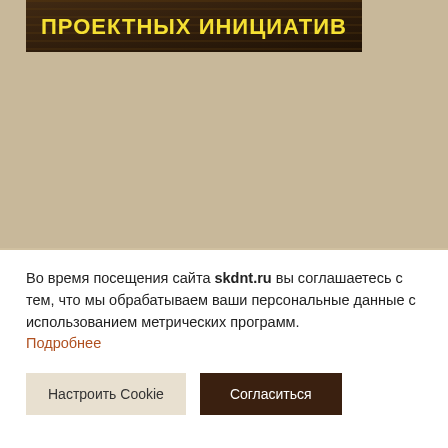[Figure (illustration): Banner image with dark brown textured background and yellow bold Cyrillic text reading 'ПРОЕКТНЫХ ИНИЦИАТИВ']
Во время посещения сайта skdnt.ru вы соглашаетесь с тем, что мы обрабатываем ваши персональные данные с использованием метрических программ. Подробнее
Настроить Cookie
Согласиться